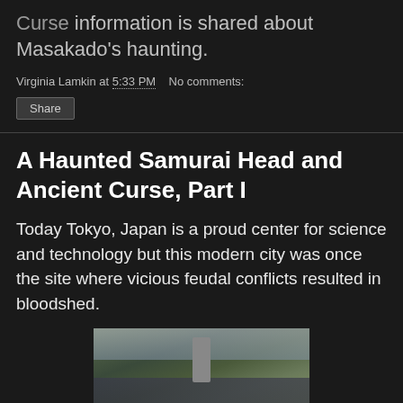Curse information is shared about Masakado's haunting.
Virginia Lamkin at 5:33 PM   No comments:
A Haunted Samurai Head and Ancient Curse, Part I
Today Tokyo, Japan is a proud center for science and technology but this modern city was once the site where vicious feudal conflicts resulted in bloodshed.
[Figure (photo): Outdoor photograph showing what appears to be a Japanese shrine or memorial stone surrounded by trees and a traditional wall or fence structure.]